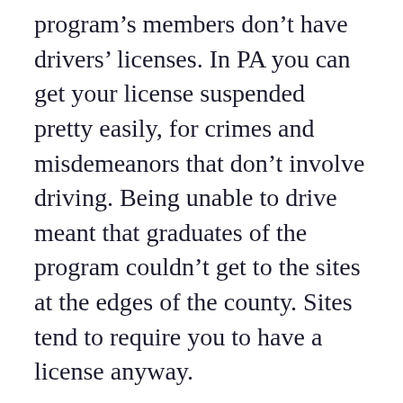program's members don't have drivers' licenses. In PA you can get your license suspended pretty easily, for crimes and misdemeanors that don't involve driving. Being unable to drive meant that graduates of the program couldn't get to the sites at the edges of the county. Sites tend to require you to have a license anyway.
Khalif met with CEO and his graduates, and felt compelled to bring the issue to the Board. People outside of the